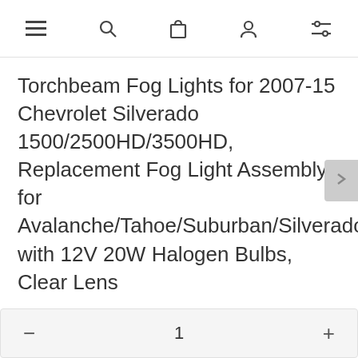≡ 🔍 🛍 👤 ⊟
Torchbeam Fog Lights for 2007-15 Chevrolet Silverado 1500/2500HD/3500HD, Replacement Fog Light Assembly for Avalanche/Tahoe/Suburban/Silverado with 12V 20W Halogen Bulbs, Clear Lens
$22.54